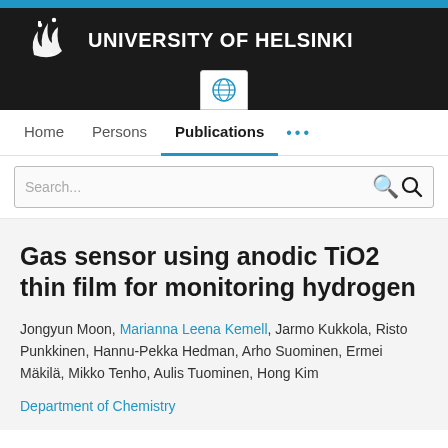UNIVERSITY OF HELSINKI
Gas sensor using anodic TiO2 thin film for monitoring hydrogen
Jongyun Moon, Marianna Leena Kemell, Jarmo Kukkola, Risto Punkkinen, Hannu-Pekka Hedman, Arho Suominen, Ermei Mäkilä, Mikko Tenho, Aulis Tuominen, Hong Kim
Department of Chemistry